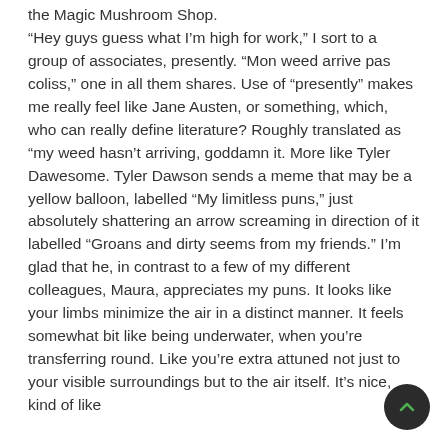the Magic Mushroom Shop. “Hey guys guess what I’m high for work,” I sort to a group of associates, presently. “Mon weed arrive pas coliss,” one in all them shares. Use of “presently” makes me really feel like Jane Austen, or something, which, who can really define literature? Roughly translated as “my weed hasn’t arriving, goddamn it. More like Tyler Dawesome. Tyler Dawson sends a meme that may be a yellow balloon, labelled “My limitless puns,” just absolutely shattering an arrow screaming in direction of it labelled “Groans and dirty seems from my friends.” I’m glad that he, in contrast to a few of my different colleagues, Maura, appreciates my puns. It looks like your limbs minimize the air in a distinct manner. It feels somewhat bit like being underwater, when you’re transferring round. Like you’re extra attuned not just to your visible surroundings but to the air itself. It’s nice, kind of like